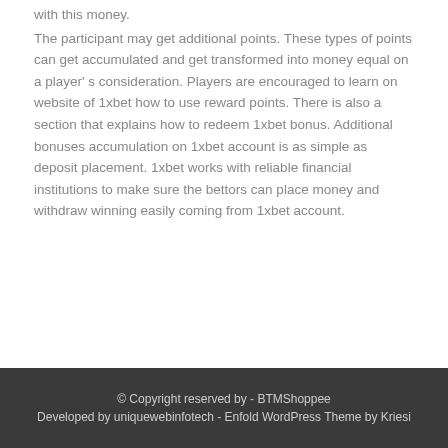with this money. The participant may get additional points. These types of points can get accumulated and get transformed into money equal on a player's consideration. Players are encouraged to learn on website of 1xbet how to use reward points. There is also a section that explains how to redeem 1xbet bonus. Additional bonuses accumulation on 1xbet account is as simple as deposit placement. 1xbet works with reliable financial institutions to make sure the bettors can place money and withdraw winning easily coming from 1xbet account.
© Copyright reserved by - BTMShoppee
Developed by uniquewebinfotech - Enfold WordPress Theme by Kriesi